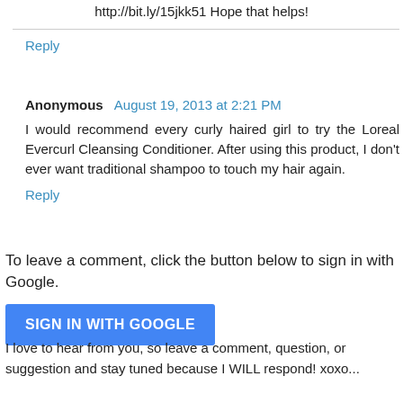http://bit.ly/15jkk51 Hope that helps!
Reply
Anonymous August 19, 2013 at 2:21 PM
I would recommend every curly haired girl to try the Loreal Evercurl Cleansing Conditioner. After using this product, I don't ever want traditional shampoo to touch my hair again.
Reply
To leave a comment, click the button below to sign in with Google.
SIGN IN WITH GOOGLE
I love to hear from you, so leave a comment, question, or suggestion and stay tuned because I WILL respond! xoxo...